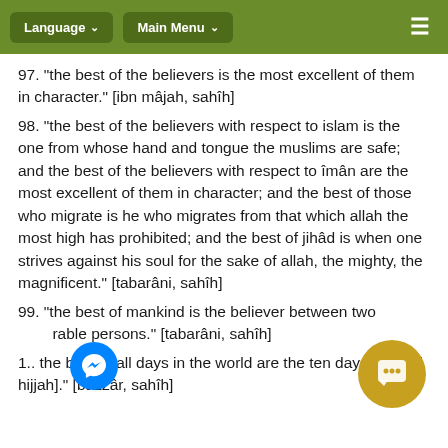Language ∨   Main Menu ∨   ≡
97. "the best of the believers is the most excellent of them in character." [ibn mâjah, sahîh]
98. "the best of the believers with respect to islam is the one from whose hand and tongue the muslims are safe; and the best of the believers with respect to îmân are the most excellent of them in character; and the best of those who migrate is he who migrates from that which allah the most high has prohibited; and the best of jihâd is when one strives against his soul for the sake of allah, the mighty, the magnificent." [tabarâni, sahîh]
99. "the best of mankind is the believer between two rable persons." [tabarâni, sahîh]
1.. the best of all days in the world are the ten days [of dhul hijjah]." [bazzâr, sahîh]